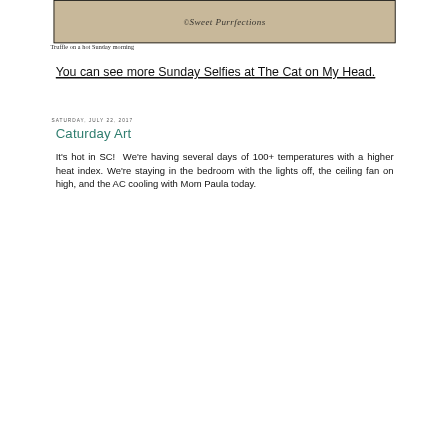[Figure (photo): Photo with Sweet Purrfections watermark logo, showing a cat on a textured background, bordered in black]
Truffle on a hot Sunday morning
You can see more Sunday Selfies at The Cat on My Head.
SATURDAY, JULY 22, 2017
Caturday Art
It's hot in SC!  We're having several days of 100+ temperatures with a higher heat index. We're staying in the bedroom with the lights off, the ceiling fan on high, and the AC cooling with Mom Paula today.